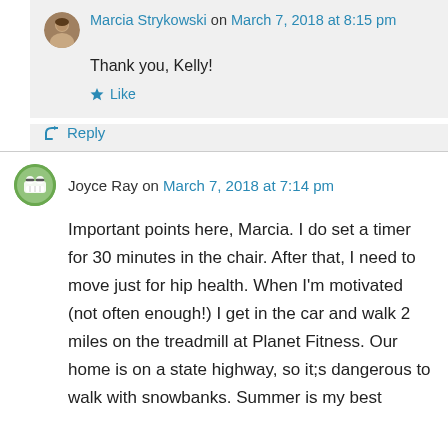Marcia Strykowski on March 7, 2018 at 8:15 pm
Thank you, Kelly!
Like
Reply
Joyce Ray on March 7, 2018 at 7:14 pm
Important points here, Marcia. I do set a timer for 30 minutes in the chair. After that, I need to move just for hip health. When I'm motivated (not often enough!) I get in the car and walk 2 miles on the treadmill at Planet Fitness. Our home is on a state highway, so it;s dangerous to walk with snowbanks. Summer is my best